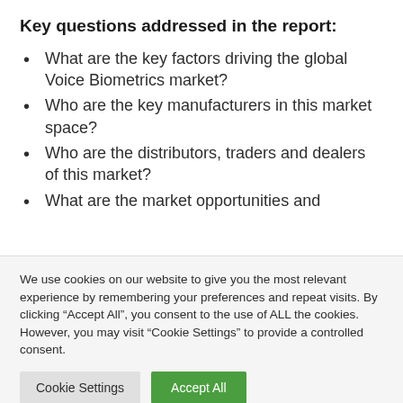Key questions addressed in the report:
What are the key factors driving the global Voice Biometrics market?
Who are the key manufacturers in this market space?
Who are the distributors, traders and dealers of this market?
What are the market opportunities and
We use cookies on our website to give you the most relevant experience by remembering your preferences and repeat visits. By clicking “Accept All”, you consent to the use of ALL the cookies. However, you may visit "Cookie Settings" to provide a controlled consent.